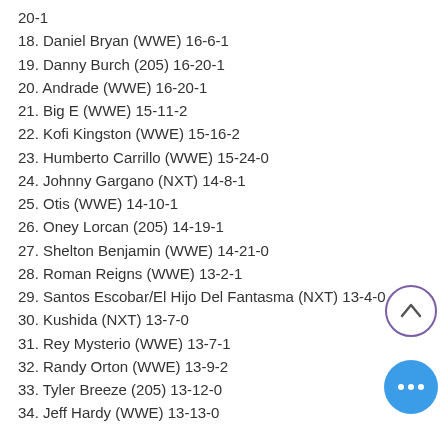20-1
18. Daniel Bryan (WWE) 16-6-1
19. Danny Burch (205) 16-20-1
20. Andrade (WWE) 16-20-1
21. Big E (WWE) 15-11-2
22. Kofi Kingston (WWE) 15-16-2
23. Humberto Carrillo (WWE) 15-24-0
24. Johnny Gargano (NXT) 14-8-1
25. Otis (WWE) 14-10-1
26. Oney Lorcan (205) 14-19-1
27. Shelton Benjamin (WWE) 14-21-0
28. Roman Reigns (WWE) 13-2-1
29. Santos Escobar/El Hijo Del Fantasma (NXT) 13-4-0
30. Kushida (NXT) 13-7-0
31. Rey Mysterio (WWE) 13-7-1
32. Randy Orton (WWE) 13-9-2
33. Tyler Breeze (205) 13-12-0
34. Jeff Hardy (WWE) 13-13-0
[Figure (other): Scroll-up button (circle with up chevron) and more options button (blue circle with three dots)]